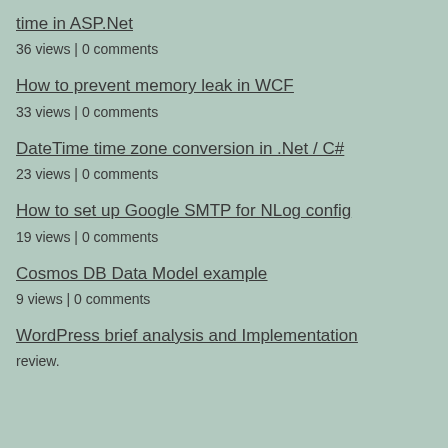time in ASP.Net
36 views | 0 comments
How to prevent memory leak in WCF
33 views | 0 comments
DateTime time zone conversion in .Net / C#
23 views | 0 comments
How to set up Google SMTP for NLog config
19 views | 0 comments
Cosmos DB Data Model example
9 views | 0 comments
WordPress brief analysis and Implementation review.